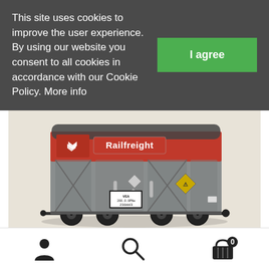This site uses cookies to improve the user experience. By using our website you consent to all cookies in accordance with our Cookie Policy. More info
I agree
popular BR Railfreight red/grey livery.
[Figure (photo): Model railway wagon in BR Railfreight red and grey livery with 'Railfreight' branding, BR logo, hazard diamonds, and number plate VEA 230443, displayed on a light beige background.]
[Figure (infographic): Bottom navigation toolbar with user account icon, search icon, and shopping basket icon with badge showing 0.]